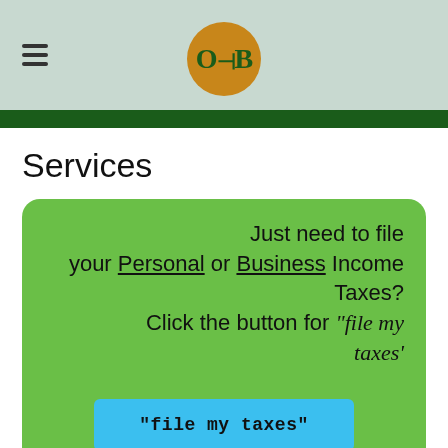OB (logo)
Services
Just need to file your Personal or Business Income Taxes? Click the button for "file my taxes'
"file my taxes"